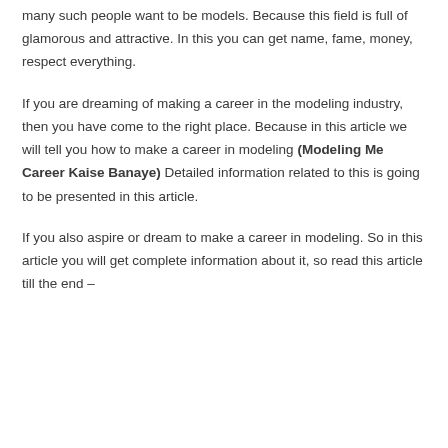many such people want to be models. Because this field is full of glamorous and attractive. In this you can get name, fame, money, respect everything.
If you are dreaming of making a career in the modeling industry, then you have come to the right place. Because in this article we will tell you how to make a career in modeling (Modeling Me Career Kaise Banaye) Detailed information related to this is going to be presented in this article.
If you also aspire or dream to make a career in modeling. So in this article you will get complete information about it, so read this article till the end –